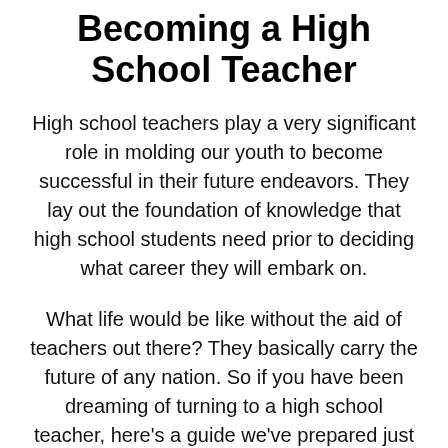Becoming a High School Teacher
High school teachers play a very significant role in molding our youth to become successful in their future endeavors. They lay out the foundation of knowledge that high school students need prior to deciding what career they will embark on.
What life would be like without the aid of teachers out there? They basically carry the future of any nation. So if you have been dreaming of turning to a high school teacher, here’s a guide we’ve prepared just for you!